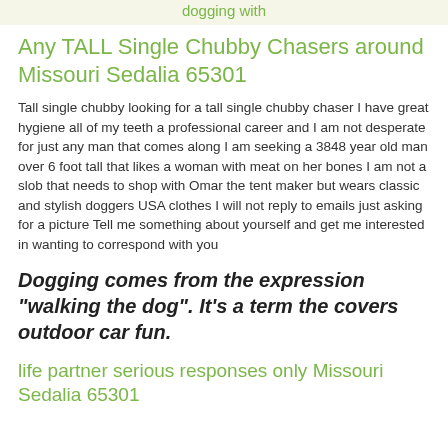dogging with
Any TALL Single Chubby Chasers around Missouri Sedalia 65301
Tall single chubby looking for a tall single chubby chaser I have great hygiene all of my teeth a professional career and I am not desperate for just any man that comes along I am seeking a 3848 year old man over 6 foot tall that likes a woman with meat on her bones I am not a slob that needs to shop with Omar the tent maker but wears classic and stylish doggers USA clothes I will not reply to emails just asking for a picture Tell me something about yourself and get me interested in wanting to correspond with you
Dogging comes from the expression "walking the dog". It's a term the covers outdoor car fun.
life partner serious responses only Missouri Sedalia 65301